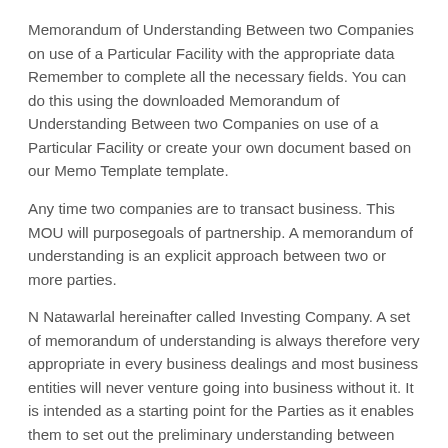Memorandum of Understanding Between two Companies on use of a Particular Facility with the appropriate data Remember to complete all the necessary fields. You can do this using the downloaded Memorandum of Understanding Between two Companies on use of a Particular Facility or create your own document based on our Memo Template template.
Any time two companies are to transact business. This MOU will purposegoals of partnership. A memorandum of understanding is an explicit approach between two or more parties.
N Natawarlal hereinafter called Investing Company. A set of memorandum of understanding is always therefore very appropriate in every business dealings and most business entities will never venture going into business without it. It is intended as a starting point for the Parties as it enables them to set out the preliminary understanding between one another and can help them to work towards a more formal agreement.
Example Memorandum of Understanding MOU MEMORANDUM OF UNDERSTANDING MOU Between ACTION FOR ENTERPRISE